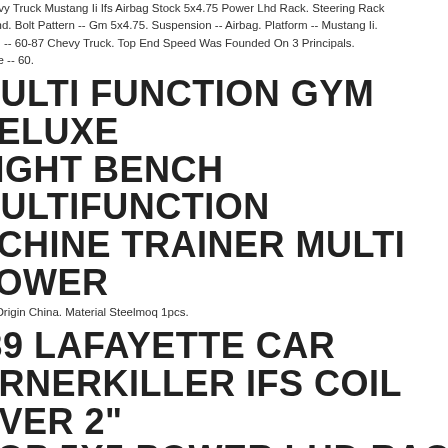Chevy Truck Mustang Ii Ifs Airbag Stock 5x4.75 Power Lhd Rack. Steering Rack Power Lhd. Bolt Pattern -- Gm 5x4.75. Suspension -- Airbag. Platform -- Mustang Ii. Application -- 60-87 Chevy Truck. Top End Speed Was Founded On 3 Principals. Wheelbase -- 60.
MULTI FUNCTION GYM DELUXE WEIGHT BENCH MULTIFUNCTION MACHINE TRAINER MULTI POWER
Place Of Origin China. Material Steelmoq 1pcs.
37-39 LAFAYETTE CAR CORNERKILLER IFS COIL OVER 2" DROP 5X5 POWER LHD RACK
Platform Cornerkiller Custom Ifs. Application 37-39 Lafayette Car. Steering Rack Power Lhd. Bolt Pattern Gmford 5x5. Suspension Sport Coil Over Shocks. Spindle 2" Drop. With Parts!
USED ROFIN POWERLINE E SERIES LASER MARKERS POWER SUPPLY HE-D  HG25